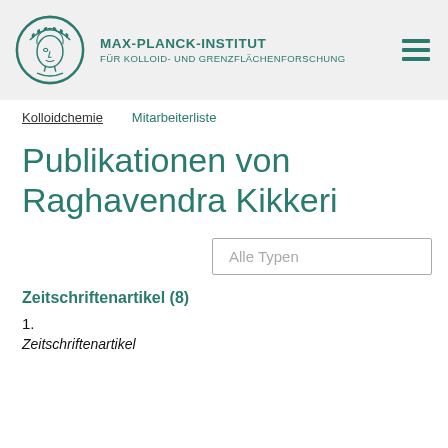MAX-PLANCK-INSTITUT FÜR KOLLOID- UND GRENZFLÄCHENFORSCHUNG
Kolloidchemie   Mitarbeiterliste
Publikationen von Raghavendra Kikkeri
Alle Typen
Zeitschriftenartikel (8)
1.
Zeitschriftenartikel